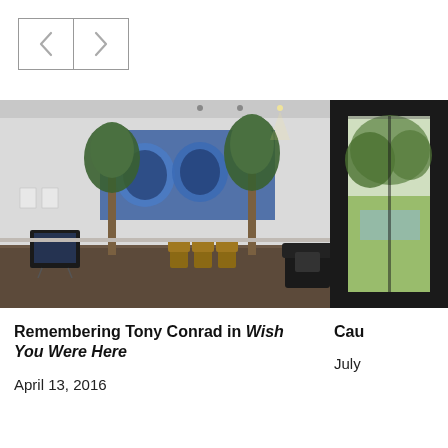[Figure (other): Navigation buttons with left and right arrows]
[Figure (photo): Gallery installation view showing a projected image of faces on a white wall, two palm trees, three chairs, a TV monitor on a stand, and a dark sofa. Blue projected light dominates the back wall.]
Remembering Tony Conrad in Wish You Were Here
April 13, 2016
[Figure (photo): Partial view of a dark-framed window or door with a bright outdoor garden/pool scene visible through it.]
Cau
July